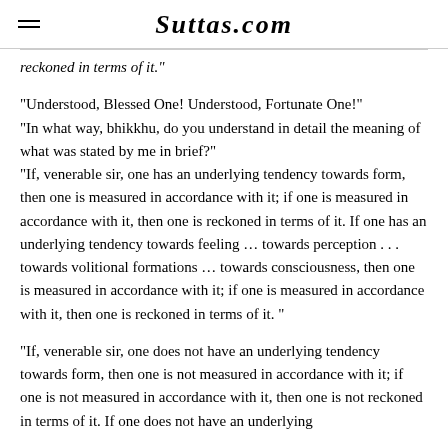Suttas.com
reckoned in terms of it."
"Understood, Blessed One! Understood, Fortunate One!"
"In what way, bhikkhu, do you understand in detail the meaning of what was stated by me in brief?"
"If, venerable sir, one has an underlying tendency towards form, then one is measured in accordance with it; if one is measured in accordance with it, then one is reckoned in terms of it. If one has an underlying tendency towards feeling … towards perception . . . towards volitional formations … towards consciousness, then one is measured in accordance with it; if one is measured in accordance with it, then one is reckoned in terms of it. "
"If, venerable sir, one does not have an underlying tendency towards form, then one is not measured in accordance with it; if one is not measured in accordance with it, then one is not reckoned in terms of it. If one does not have an underlying tendency towards feeling … towards perception . . .